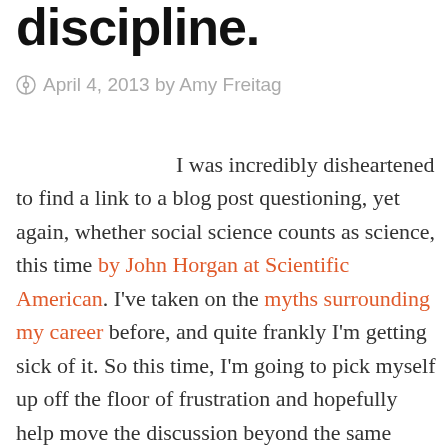discipline.
April 4, 2013 by Amy Freitag
I was incredibly disheartened to find a link to a blog post questioning, yet again, whether social science counts as science, this time by John Horgan at Scientific American. I've taken on the myths surrounding my career before, and quite frankly I'm getting sick of it. So this time, I'm going to pick myself up off the floor of frustration and hopefully help move the discussion beyond the same uninformed stereotypes we've all heard a million times before. Taken to the extreme, I feel as